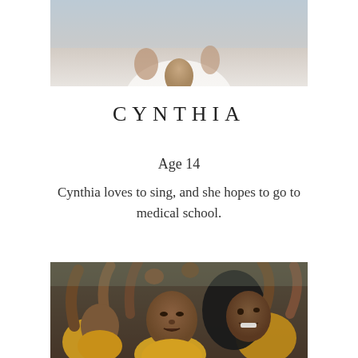[Figure (photo): Partial photo of Cynthia, showing lower face and white shirt, cropped at top of page]
CYNTHIA
Age 14
Cynthia loves to sing, and she hopes to go to medical school.
[Figure (photo): Group of African children in yellow and black shirts, raising their hands enthusiastically]